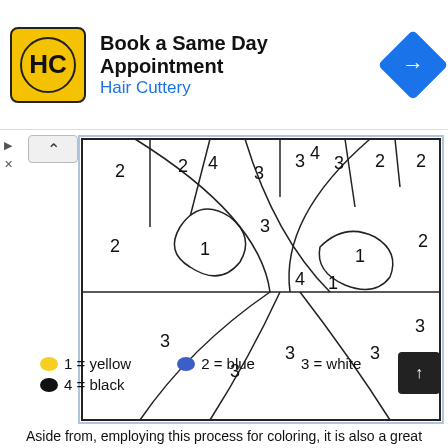[Figure (other): Hair Cuttery advertisement banner: Book a Same Day Appointment]
[Figure (illustration): Color-by-number coloring page featuring a tree or plant with numbered regions. Numbers 1-4 scattered in sections indicating colors: 1=yellow, 2=blue, 3=white, 4=black]
1 = yellow   2 = blue   3 = white
4 = black
Aside from, employing this process for coloring, it is also a great